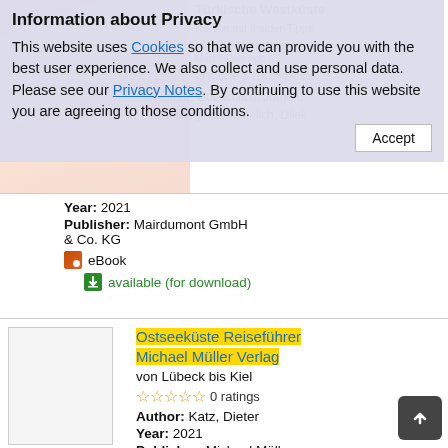[Figure (screenshot): Background webpage content showing book listing with cover images and text in German, partially visible behind privacy overlay]
Information about Privacy
This website uses Cookies so that we can provide you with the best user experience. We also collect and use personal data. Please see our Privacy Notes. By continuing to use this website you are agreeing to those conditions.
Accept
Year: 2021
Publisher: Mairdumont GmbH & Co. KG
eBook
available (for download)
Ostseeküste Reiseführer Michael Müller Verlag
von Lübeck bis Kiel
0 ratings
Author: Katz, Dieter
Year: 2021
Publisher: Michael Müller
E-Medium